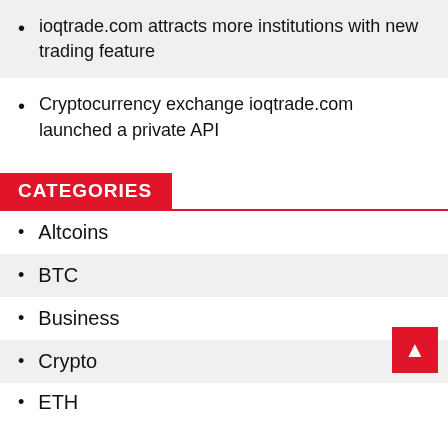ioqtrade.com attracts more institutions with new trading feature
Cryptocurrency exchange ioqtrade.com launched a private API
CATEGORIES
Altcoins
BTC
Business
Crypto
ETH